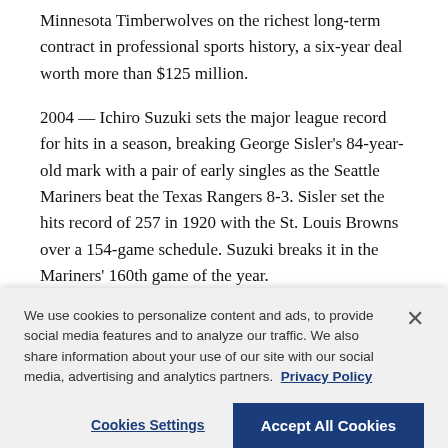Minnesota Timberwolves on the richest long-term contract in professional sports history, a six-year deal worth more than $125 million.
2004 — Ichiro Suzuki sets the major league record for hits in a season, breaking George Sisler's 84-year-old mark with a pair of early singles as the Seattle Mariners beat the Texas Rangers 8-3. Sisler set the hits record of 257 in 1920 with the St. Louis Browns over a 154-game schedule. Suzuki breaks it in the Mariners' 160th game of the year.
2006 — Tiger Woods matches his longest PGA Tour
We use cookies to personalize content and ads, to provide social media features and to analyze our traffic. We also share information about your use of our site with our social media, advertising and analytics partners. Privacy Policy